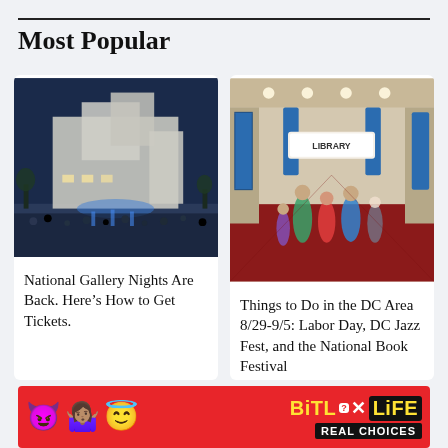Most Popular
[Figure (photo): Outdoor night event at the National Gallery with a large crowd gathered in front of a modern white building lit at night]
National Gallery Nights Are Back. Here’s How to Get Tickets.
[Figure (photo): Interior of a large convention hall with people walking, blue banners, and a Library sign visible in the background]
Things to Do in the DC Area 8/29-9/5: Labor Day, DC Jazz Fest, and the National Book Festival
[Figure (other): BitLife advertisement banner with emoji characters and REAL CHOICES tagline]